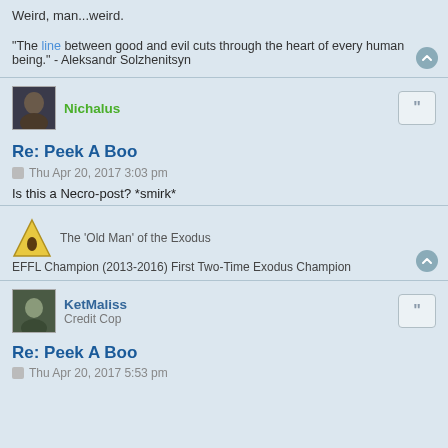Weird, man...weird.
"The line between good and evil cuts through the heart of every human being." - Aleksandr Solzhenitsyn
Nichalus
Re: Peek A Boo
Thu Apr 20, 2017 3:03 pm
Is this a Necro-post? *smirk*
The 'Old Man' of the Exodus
EFFL Champion (2013-2016) First Two-Time Exodus Champion
KetMaliss
Credit Cop
Re: Peek A Boo
Thu Apr 20, 2017 5:53 pm